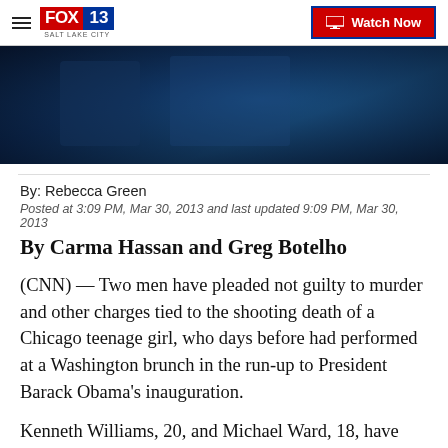FOX 13 SALT LAKE CITY — Watch Now
[Figure (photo): Dark blue-toned hero image, appears to be a partial silhouette or shadowy scene with deep blue tones]
By: Rebecca Green
Posted at 3:09 PM, Mar 30, 2013 and last updated 9:09 PM, Mar 30, 2013
By Carma Hassan and Greg Botelho
(CNN) — Two men have pleaded not guilty to murder and other charges tied to the shooting death of a Chicago teenage girl, who days before had performed at a Washington brunch in the run-up to President Barack Obama's inauguration.
Kenneth Williams, 20, and Michael Ward, 18, have